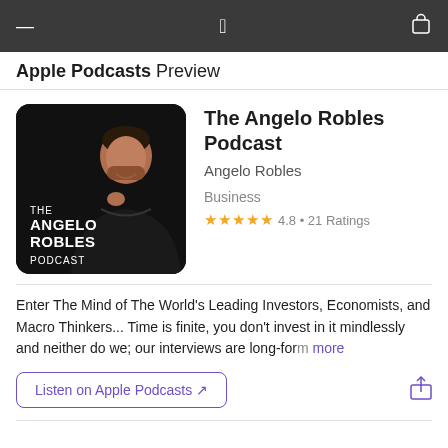Apple Podcasts Preview
[Figure (illustration): The Angelo Robles Podcast cover art: black background with a man in a dark shirt and the text THE ANGELO ROBLES PODCAST in white]
The Angelo Robles Podcast
Angelo Robles
Business
★★★★★ 4.8 • 21 Ratings
Enter The Mind of The World's Leading Investors, Economists, and Macro Thinkers... Time is finite, you don't invest in it mindlessly and neither do we; our interviews are long-form more
Listen on Apple Podcasts ↗